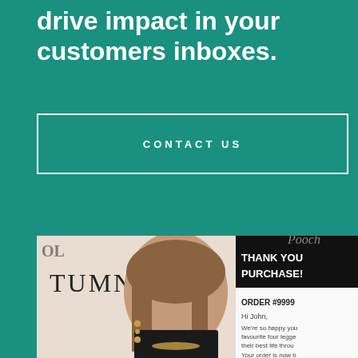drive impact in your customers inboxes.
CONTACT US
[Figure (photo): Composite image showing a fashion photo of a young woman with gold jewelry against an 'AUTUMN DROP' backdrop on the left, and a smartphone displaying a 'THANK YOU PURCHASE!' email order confirmation (ORDER #9999) on the right, all on a teal background.]